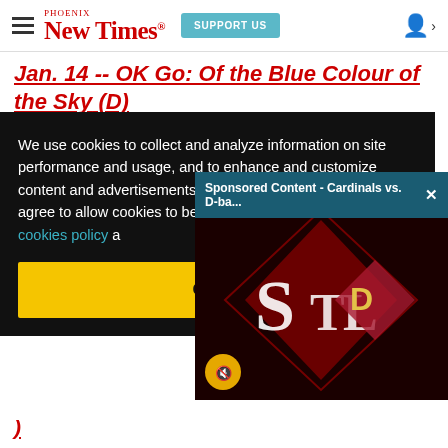[Figure (screenshot): Phoenix New Times website header with hamburger menu, red New Times logo, teal Support Us button, and user icon]
Jan. 14 -- OK Go: Of the Blue Colour of the Sky (D)
We use cookies to collect and analyze information on site performance and usage, and to enhance and customize content and advertisements. By continuing to use the site, you agree to allow cookies to be placed. To find out more, visit our cookies policy a...
[Figure (screenshot): Sponsored Content - Cardinals vs. D-ba... video ad showing Cardinals and Diamondbacks logos on dark background with mute button]
Got it!